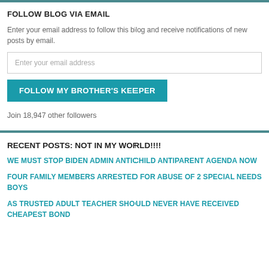FOLLOW BLOG VIA EMAIL
Enter your email address to follow this blog and receive notifications of new posts by email.
Enter your email address
FOLLOW MY BROTHER'S KEEPER
Join 18,947 other followers
RECENT POSTS: NOT IN MY WORLD!!!!
WE MUST STOP BIDEN ADMIN ANTICHILD ANTIPARENT AGENDA NOW
FOUR FAMILY MEMBERS ARRESTED FOR ABUSE OF 2 SPECIAL NEEDS BOYS
AS TRUSTED ADULT TEACHER SHOULD NEVER HAVE RECEIVED CHEAPEST BOND